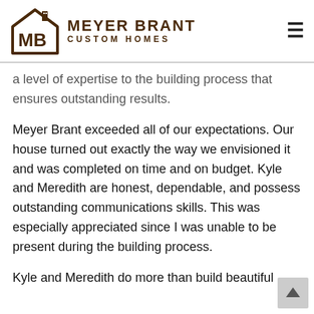MEYER BRANT CUSTOM HOMES
a level of expertise to the building process that ensures outstanding results.
Meyer Brant exceeded all of our expectations. Our house turned out exactly the way we envisioned it and was completed on time and on budget. Kyle and Meredith are honest, dependable, and possess outstanding communications skills. This was especially appreciated since I was unable to be present during the building process.
Kyle and Meredith do more than build beautiful